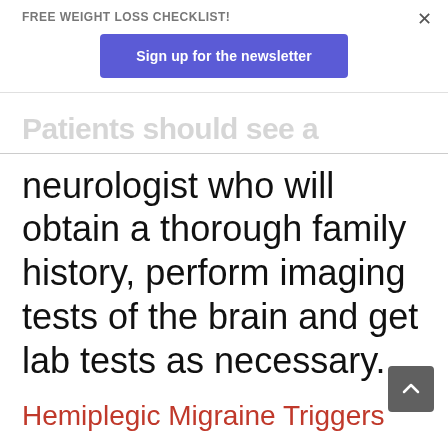FREE WEIGHT LOSS CHECKLIST!
Sign up for the newsletter
Patients should see a neurologist who will obtain a thorough family history, perform imaging tests of the brain and get lab tests as necessary.
Hemiplegic Migraine Triggers